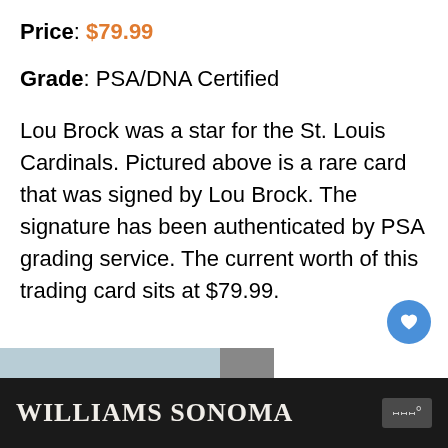Price: $79.99
Grade: PSA/DNA Certified
Lou Brock was a star for the St. Louis Cardinals. Pictured above is a rare card that was signed by Lou Brock. The signature has been authenticated by PSA grading service. The current worth of this trading card sits at $79.99.
[Figure (other): Advertisement banner for #FlattenTheCurve with image of hands washing]
[Figure (other): What's Next panel showing '15 Most Valuable...' with thumbnail image]
[Figure (other): Williams Sonoma advertisement banner with dark background]